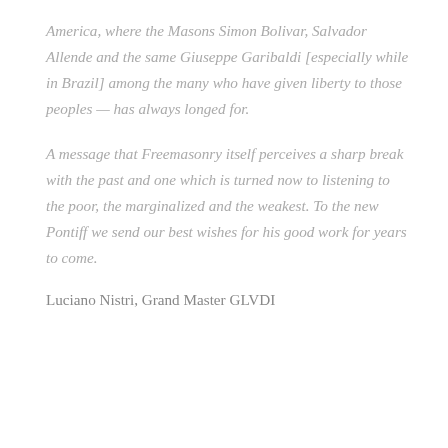America, where the Masons Simon Bolivar, Salvador Allende and the same Giuseppe Garibaldi [especially while in Brazil] among the many who have given liberty to those peoples — has always longed for.
A message that Freemasonry itself perceives a sharp break with the past and one which is turned now to listening to the poor, the marginalized and the weakest. To the new Pontiff we send our best wishes for his good work for years to come.
Luciano Nistri, Grand Master GLVDI